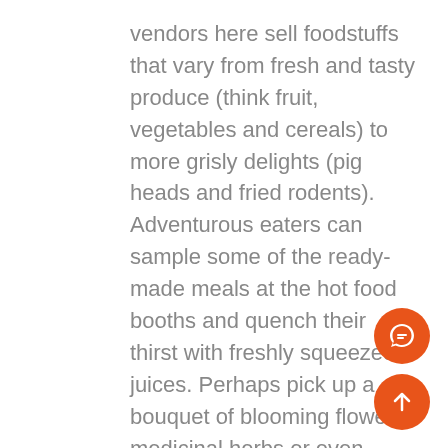vendors here sell foodstuffs that vary from fresh and tasty produce (think fruit, vegetables and cereals) to more grisly delights (pig heads and fried rodents). Adventurous eaters can sample some of the ready-made meals at the hot food booths and quench their thirst with freshly squeezed juices. Perhaps pick up a bouquet of blooming flowers, medicinal herbs or even supplements, some of which are said to have magical effects.
This market is a place for discovery. Follow unfamiliar smells to their source and examine and even taste unusual produce – the likes of which simply